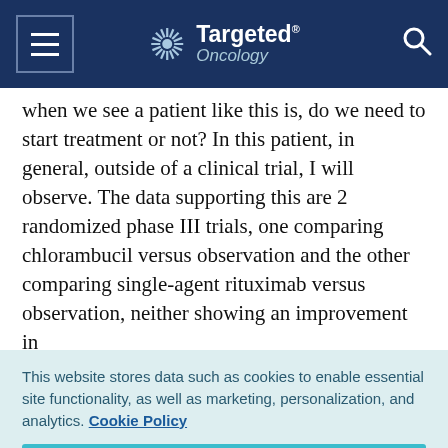Targeted Oncology
when we see a patient like this is, do we need to start treatment or not? In this patient, in general, outside of a clinical trial, I will observe. The data supporting this are 2 randomized phase III trials, one comparing chlorambucil versus observation and the other comparing single-agent rituximab versus observation, neither showing an improvement in
This website stores data such as cookies to enable essential site functionality, as well as marketing, personalization, and analytics. Cookie Policy
Accept
Deny